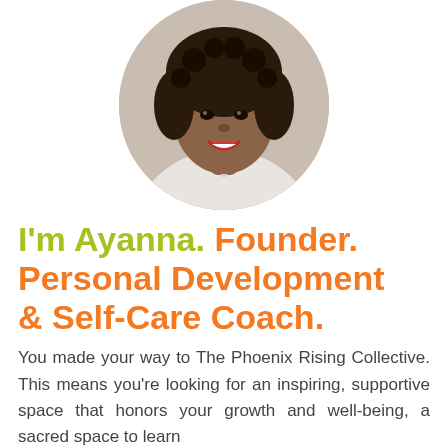[Figure (photo): Circular cropped portrait photo of a woman with dark curly hair, wearing a white outfit and silver necklace, smiling.]
I'm Ayanna. Founder. Personal Development & Self-Care Coach.
You made your way to The Phoenix Rising Collective. This means you're looking for an inspiring, supportive space that honors your growth and well-being, a sacred space to learn